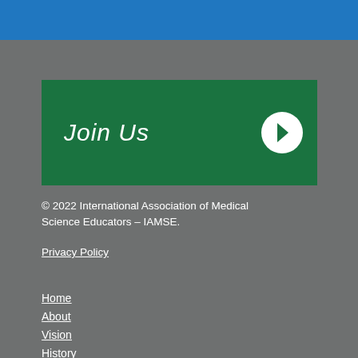[Figure (other): Blue header bar at top of page]
[Figure (other): Green 'Join Us' button with right arrow icon]
© 2022 International Association of Medical Science Educators – IAMSE.
Privacy Policy
Home
About
Vision
History
Board of Directors
Administrative Committees
Bylaws